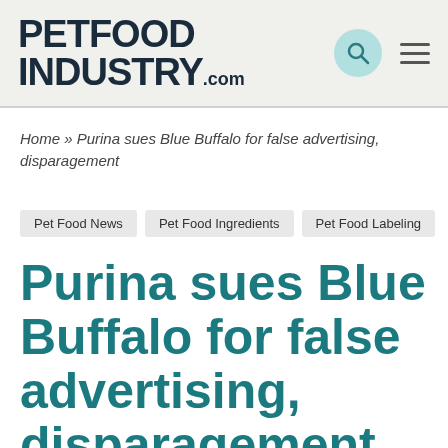PETFOOD INDUSTRY.com
Home » Purina sues Blue Buffalo for false advertising, disparagement
Pet Food News
Pet Food Ingredients
Pet Food Labeling
Purina sues Blue Buffalo for false advertising, disparagement